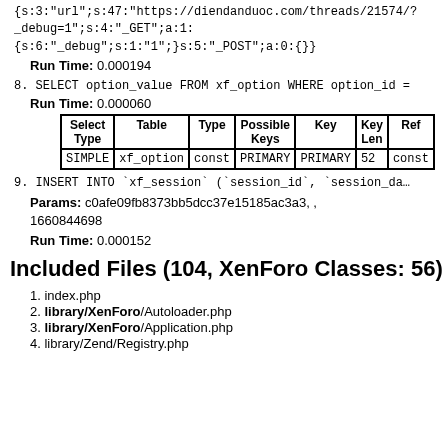{s:3:"url";s:47:"https://diendanduoc.com/threads/21574/?_debug=1";s:4:"_GET";a:1:{s:6:"_debug";s:1:"1";}s:5:"_POST";a:0:{}}
Run Time: 0.000194
8. SELECT option_value FROM xf_option WHERE option_id =
Run Time: 0.000060
| Select Type | Table | Type | Possible Keys | Key | Key Len | Ref |
| --- | --- | --- | --- | --- | --- | --- |
| SIMPLE | xf_option | const | PRIMARY | PRIMARY | 52 | const |
9. INSERT INTO `xf_session` (`session_id`, `session_da…
Params: c0afe09fb8373bb5dcc37e15185ac3a3, , 1660844698
Run Time: 0.000152
Included Files (104, XenForo Classes: 56)
1. index.php
2. library/XenForo/Autoloader.php
3. library/XenForo/Application.php
4. library/Zend/Registry.php